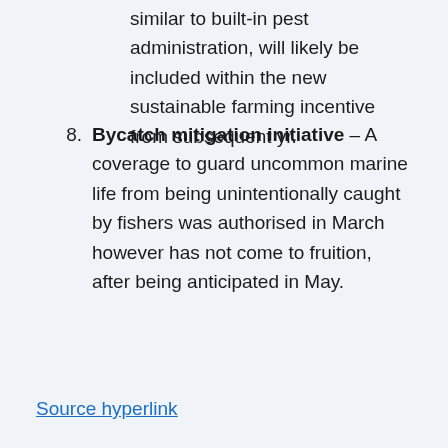similar to built-in pest administration, will likely be included within the new sustainable farming incentive from subsequent yr.
8. Bycatch mitigation initiative – A coverage to guard uncommon marine life from being unintentionally caught by fishers was authorised in March however has not come to fruition, after being anticipated in May.
Source hyperlink